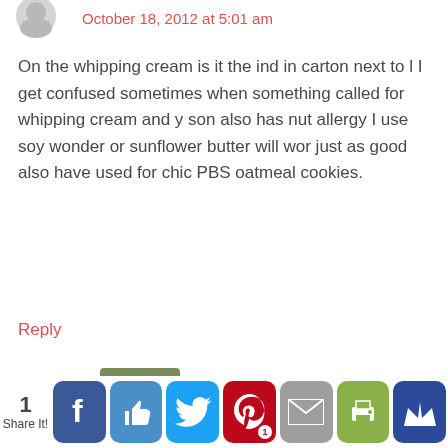October 18, 2012 at 5:01 am
On the whipping cream is it the ind in carton next to l I get confused sometimes when something called for whipping cream and y son also has nut allergy I use soy wonder or sunflower butter will wor just as good also have used for chic PBS oatmeal cookies.
Reply
[Figure (photo): Author avatar thumbnail of Laura, a woman with brown hair smiling]
Laura says
October 18, 2012 at 11:28 am
For recipes like this, I use the heavy whipping
1
Share It!